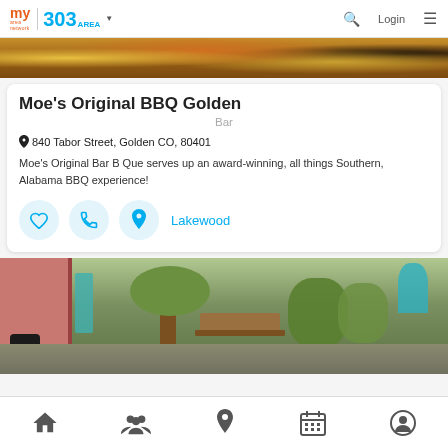my area network | 303 AREA | Search | Login | Menu
[Figure (photo): Close-up food image strip at top of page showing colorful BBQ food items]
Moe's Original BBQ Golden
Bar
840 Tabor Street, Golden CO, 80401
Moe's Original Bar B Que serves up an award-winning, all things Southern, Alabama BBQ experience!
Lakewood
[Figure (photo): Outdoor patio of a restaurant with tropical plants, picnic tables, string lights, and colorful buildings in the background]
Home | People | Location | Calendar | Profile